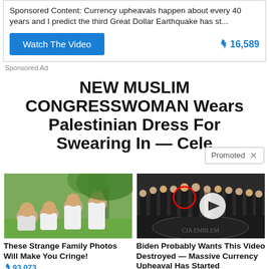Sponsored Content: Currency upheavals happen about every 40 years and I predict the third Great Dollar Earthquake has st...
Watch The Video  🔥 16,589
Sponsored Ad
NEW MUSLIM CONGRESSWOMAN Wears Palestinian Dress For Swearing In — Cele
Promoted ✕
[Figure (photo): Family photo with adults and young people in white shirts sitting outdoors under a tree]
These Strange Family Photos Will Make You Cringe! 🔥 93,073
[Figure (photo): Group of people in suits standing in a line at the CIA, with a red circle highlighting one person and a video play button overlay]
Biden Probably Wants This Video Destroyed — Massive Currency Upheaval Has Started 🔥 104,961